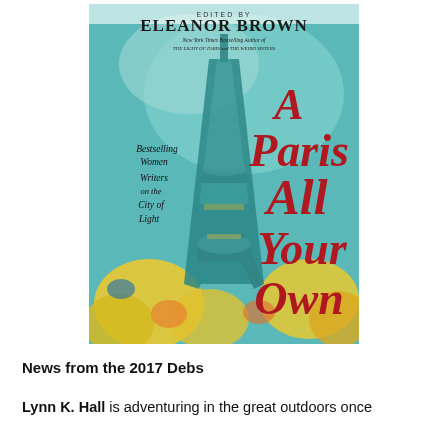[Figure (illustration): Book cover of 'A Paris All Your Own' edited by Eleanor Brown. Features a watercolor illustration of the Eiffel Tower with teal/blue sky and yellow floral elements. Text on cover reads: 'EDITED BY ELEANOR BROWN', 'New York Times Bestselling Author of THE LIGHT OF PARIS and THE WEIRD SISTERS', 'Bestselling Women Writers on the City of Light', and the title 'A Paris All Your Own' in large red script lettering.]
News from the 2017 Debs
Lynn K. Hall is adventuring in the great outdoors once